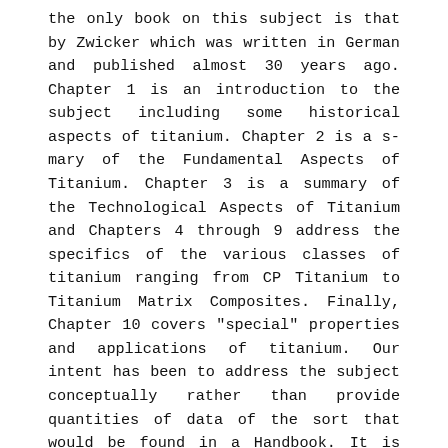the only book on this subject is that by Zwicker which was written in German and published almost 30 years ago. Chapter 1 is an introduction to the subject including some historical aspects of titanium. Chapter 2 is a s-mary of the Fundamental Aspects of Titanium. Chapter 3 is a summary of the Technological Aspects of Titanium and Chapters 4 through 9 address the specifics of the various classes of titanium ranging from CP Titanium to Titanium Matrix Composites. Finally, Chapter 10 covers "special" properties and applications of titanium. Our intent has been to address the subject conceptually rather than provide quantities of data of the sort that would be found in a Handbook. It is our intent that this book is useful for materials scientists and engineers interested in using titanium and for students either as a sourcebook or as a